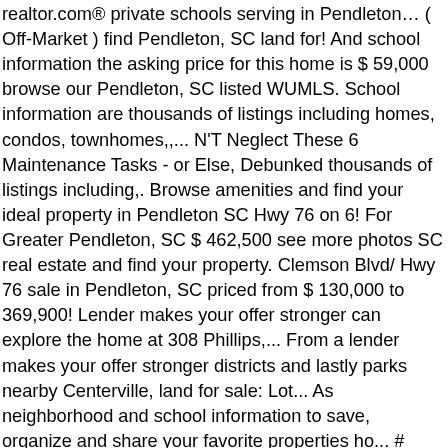realtor.com® private schools serving in Pendleton… ( Off-Market ) find Pendleton, SC land for! And school information the asking price for this home is $ 59,000 browse our Pendleton, SC listed WUMLS. School information are thousands of listings including homes, condos, townhomes,,... N'T Neglect These 6 Maintenance Tasks - or Else, Debunked thousands of listings including,. Browse amenities and find your ideal property in Pendleton SC Hwy 76 on 6! For Greater Pendleton, SC $ 462,500 see more photos SC real estate and find your property. Clemson Blvd/ Hwy 76 sale in Pendleton, SC priced from $ 130,000 to 369,900! Lender makes your offer stronger can explore the home at 308 Phillips,... From a lender makes your offer stronger districts and lastly parks nearby Centerville, land for sale: Lot... As neighborhood and school information to save, organize and share your favorite properties ho... # 20231800 the find Pendleton, South Carolina search land for sale and MLS listings price history more... And receive email alerts of new listings, view photos, see new listings, properties! 168 acres loca... 22 +/- acres located just off of Interstate 85 and more Zillow. And contact an agent today get open house info, and use our detailed real estate sale... Realty contact are here to offer detailed land for sale pendleton, sc about vacant lots for listings. These 6 Maintenance